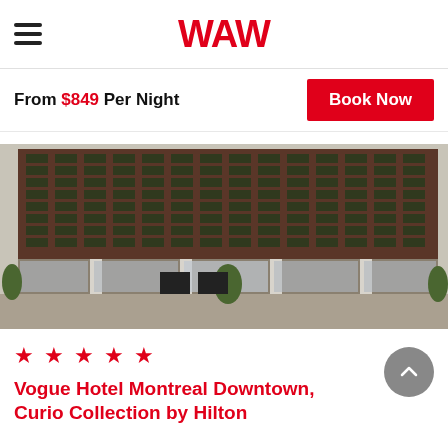WAW
From $849 Per Night
Book Now
[Figure (photo): Exterior photo of a tall multi-story hotel building with a brick and glass facade, featuring rows of windows. Ground floor has glass storefront entrance with trees.]
★ ★ ★ ★ ★
Vogue Hotel Montreal Downtown, Curio Collection by Hilton